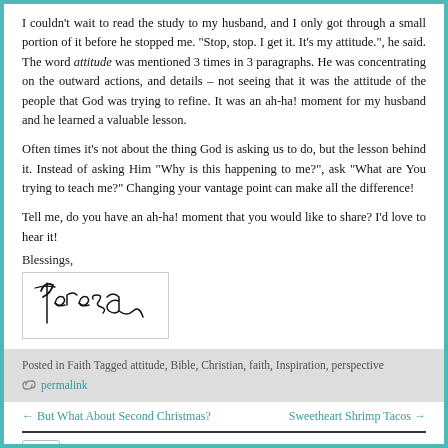I couldn't wait to read the study to my husband, and I only got through a small portion of it before he stopped me. “Stop, stop. I get it. It’s my attitude.”, he said. The word attitude was mentioned 3 times in 3 paragraphs. He was concentrating on the outward actions, and details – not seeing that it was the attitude of the people that God was trying to refine. It was an ah-ha! moment for my husband and he learned a valuable lesson.
Often times it’s not about the thing God is asking us to do, but the lesson behind it. Instead of asking Him “Why is this happening to me?”, ask “What are You trying to teach me?” Changing your vantage point can make all the difference!
Tell me, do you have an ah-ha! moment that you would like to share? I’d love to hear it!
Blessings,
[Figure (illustration): Handwritten cursive signature reading 'Teresa' in black ink on white background with a rectangular border.]
Posted in Faith Tagged attitude, Bible, Christian, faith, Inspiration, perspective
• permalink
← But What About Second Christmas?
Sweetheart Shrimp Tacos →
Comments
An Ah-Ha! Moment — 2 Comments
Maria Esmeralda Montes on April 12, 2010 at 2:11 am said: